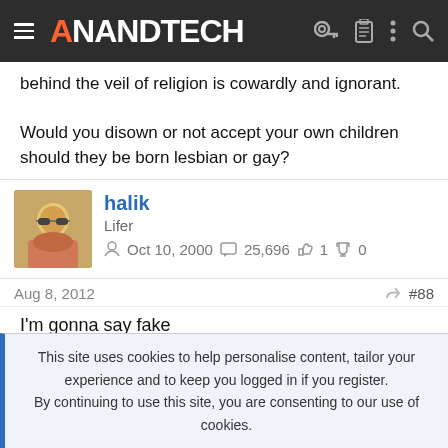AnandTech
behind the veil of religion is cowardly and ignorant.

Would you disown or not accept your own children should they be born lesbian or gay?
halik
Lifer
Oct 10, 2000  25,696  1  0
Aug 8, 2012  #88
I'm gonna say fake
This site uses cookies to help personalise content, tailor your experience and to keep you logged in if you register.
By continuing to use this site, you are consenting to our use of cookies.